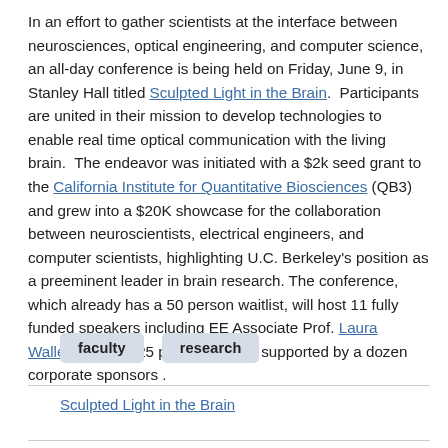In an effort to gather scientists at the interface between neurosciences, optical engineering, and computer science, an all-day conference is being held on Friday, June 9, in Stanley Hall titled Sculpted Light in the Brain. Participants are united in their mission to develop technologies to enable real time optical communication with the living brain. The endeavor was initiated with a $2k seed grant to the California Institute for Quantitative Biosciences (QB3) and grew into a $20K showcase for the collaboration between neuroscientists, electrical engineers, and computer scientists, highlighting U.C. Berkeley's position as a preeminent leader in brain research. The conference, which already has a 50 person waitlist, will host 11 fully funded speakers including EE Associate Prof. Laura Waller, present 25 posters, and is supported by a dozen corporate sponsors .
faculty
research
Sculpted Light in the Brain